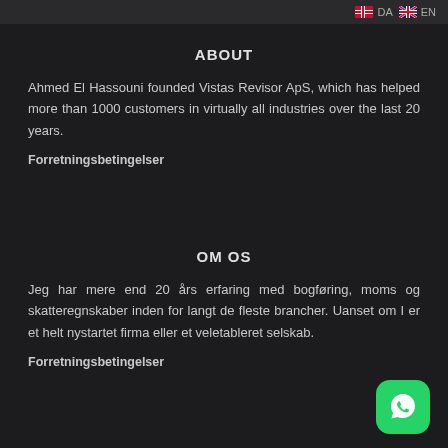DA EN
ABOUT
Ahmed El Hassouni founded Vistas Revisor ApS, which has helped more than 1000 customers in virtually all industries over the last 20 years.
Forretningsbetingelser
OM OS
Jeg har mere end 20 års erfaring med bogføring, moms og skatteregnskaber inden for langt de fleste brancher. Uanset om I er et helt nystartet firma eller et veletableret selskab.
Forretningsbetingelser
[Figure (logo): WhatsApp green rounded square button with phone/chat icon]